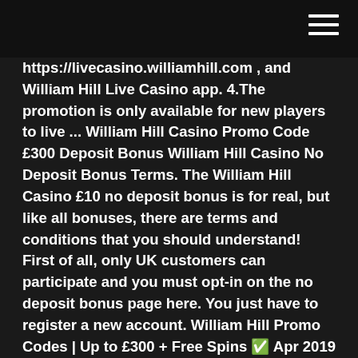https://livecasino.williamhill.com , and William Hill Live Casino app. 4.The promotion is only available for new players to live ... William Hill Casino Promo Code £300 Deposit Bonus William Hill Casino No Deposit Bonus Terms. The William Hill Casino £10 no deposit bonus is for real, but like all bonuses, there are terms and conditions that you should understand! First of all, only UK customers can participate and you must opt-in on the no deposit bonus page here. You just have to register a new account. William Hill Promo Codes | Up to £300 + Free Spins ✅ Apr 2019 It is not every William Hill promo code for existing and new customers that is good for you. That is why you must learn what to look at while deciding to opt in or out of any. The major thing is to look through the fine prints and ensure